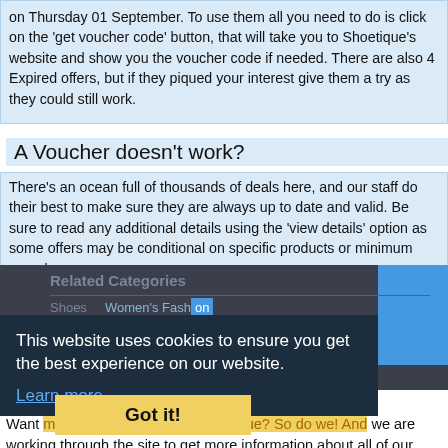on Thursday 01 September. To use them all you need to do is click on the 'get voucher code' button, that will take you to Shoetique's website and show you the voucher code if needed. There are also 4 Expired offers, but if they piqued your interest give them a try as they could still work.
A Voucher doesn't work?
There's an ocean full of thousands of deals here, and our staff do their best to make sure they are always up to date and valid. Be sure to read any additional details using the 'view details' option as some offers may be conditional on specific products or minimum spends.
Related Categories
Shoes  Women's Fashion
This website uses cookies to ensure you get the best experience on our website.
Learn more
Got it!
About Shoetique
Want more information about Shoetique? So do we! And we are working through the site to get more information about all of our stores. But with all the stores we have it's going to take a while, don't let that stop you